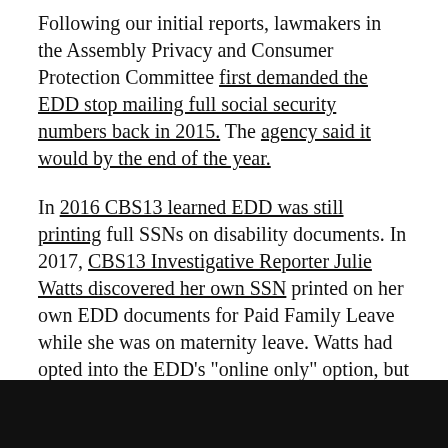Following our initial reports, lawmakers in the Assembly Privacy and Consumer Protection Committee first demanded the EDD stop mailing full social security numbers back in 2015. The agency said it would by the end of the year.
In 2016 CBS13 learned EDD was still printing full SSNs on disability documents. In 2017, CBS13 Investigative Reporter Julie Watts discovered her own SSN printed on her own EDD documents for Paid Family Leave while she was on maternity leave. Watts had opted into the EDD's "online only" option, but EDD said she could not opt out of receiving duplicate mailed statements with her full SSN.